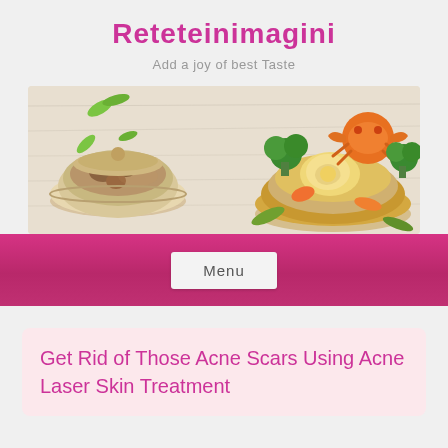Reteteinimagini
Add a joy of best Taste
[Figure (illustration): Food illustration banner with a wooden table background, green leaves, a bowl of soup/dumplings on the left, and a bowl of ramen/noodles with crab, egg, vegetables on the right]
Menu
Get Rid of Those Acne Scars Using Acne Laser Skin Treatment